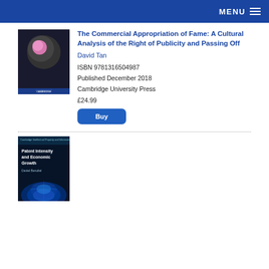MENU
[Figure (photo): Book cover for 'The Commercial Appropriation of Fame' showing a woman blowing a pink bubble gum bubble against a dark background, with Cambridge logo at bottom]
The Commercial Appropriation of Fame: A Cultural Analysis of the Right of Publicity and Passing Off
David Tan
ISBN 9781316504987
Published December 2018
Cambridge University Press
£24.99
[Figure (photo): Book cover for 'Patent Intensity and Economic Growth' by Daniel Benoliel, showing a dark background with a glowing globe at the bottom, part of Cambridge Intellectual Property and Information Law series]